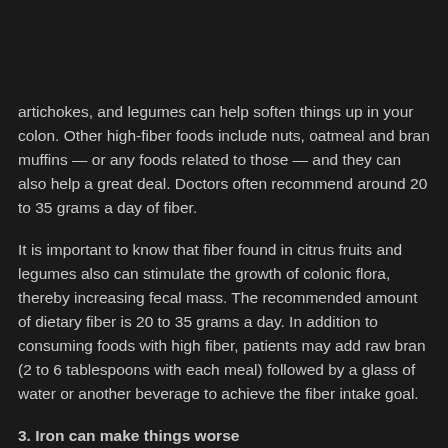artichokes, and legumes can help soften things up in your colon. Other high-fiber foods include nuts, oatmeal and bran muffins — or any foods related to those — and they can also help a great deal. Doctors often recommend around 20 to 35 grams a day of fiber.
It is important to know that fiber found in citrus fruits and legumes also can stimulate the growth of colonic flora, thereby increasing fecal mass. The recommended amount of dietary fiber is 20 to 35 grams a day. In addition to consuming foods with high fiber, patients may add raw bran (2 to 6 tablespoons with each meal) followed by a glass of water or another beverage to achieve the fiber intake goal.
3. Iron can make things worse